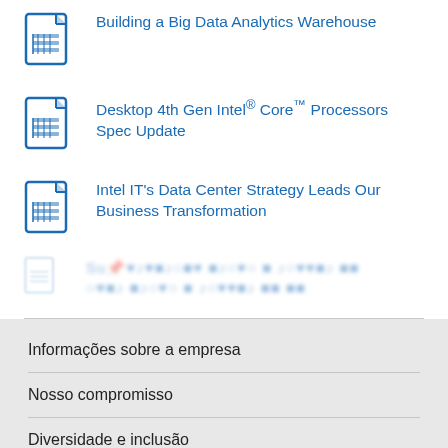Building a Big Data Analytics Warehouse
Desktop 4th Gen Intel® Core™ Processors Spec Update
Intel IT's Data Center Strategy Leads Our Business Transformation
[partially visible/blurred item]
Informações sobre a empresa
Nosso compromisso
Diversidade e inclusão
Relações com a sociedade